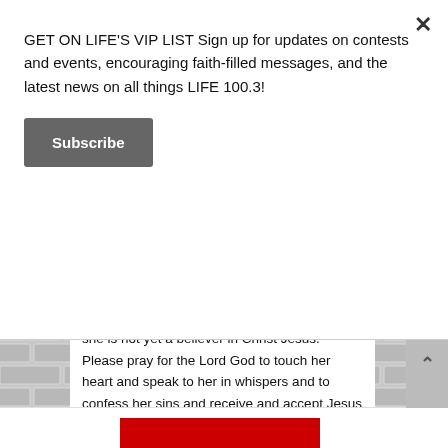GET ON LIFE'S VIP LIST Sign up for updates on contests and events, encouraging faith-filled messages, and the latest news on all things LIFE 100.3!
Subscribe
she is not yet a believer in Christ Jesus. Please pray for the Lord God to touch her heart and speak to her in whispers and to confess her sins and receive and accept Jesus Christ as her Lord and savior. In the name of Jesus Christ, I pray. Amen.
Posted on February 9th, 2021